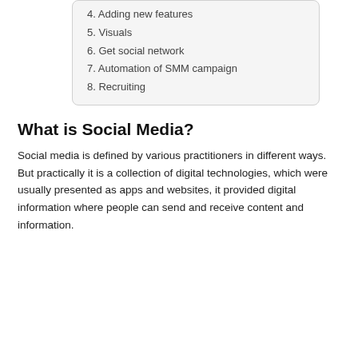4. Adding new features
5. Visuals
6. Get social network
7. Automation of SMM campaign
8. Recruiting
What is Social Media?
Social media is defined by various practitioners in different ways. But practically it is a collection of digital technologies, which were usually presented as apps and websites, it provided digital information where people can send and receive content and information.